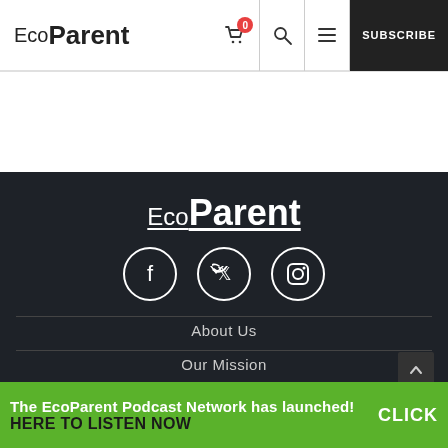EcoParent
[Figure (logo): EcoParent footer logo in white on dark background]
[Figure (illustration): Three social media icon circles: Facebook, Twitter, Instagram]
About Us
Our Mission
Privacy Policy
The EcoParent Podcast Network has launched! CLICK HERE TO LISTEN NOW